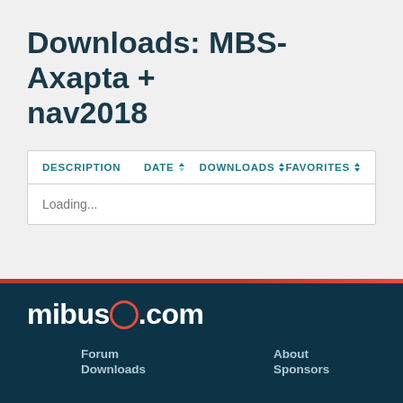Downloads: MBS-Axapta + nav2018
| DESCRIPTION | DATE | DOWNLOADS | FAVORITES |
| --- | --- | --- | --- |
| Loading... |  |  |  |
mibuso.com
Forum
Downloads
About
Sponsors